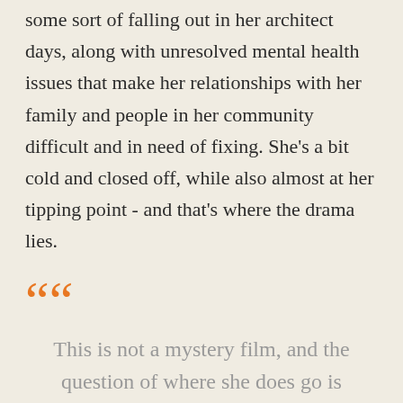some sort of falling out in her architect days, along with unresolved mental health issues that make her relationships with her family and people in her community difficult and in need of fixing. She's a bit cold and closed off, while also almost at her tipping point - and that's where the drama lies.
This is not a mystery film, and the question of where she does go is answered as soon as she leaves. It's also not what the film is